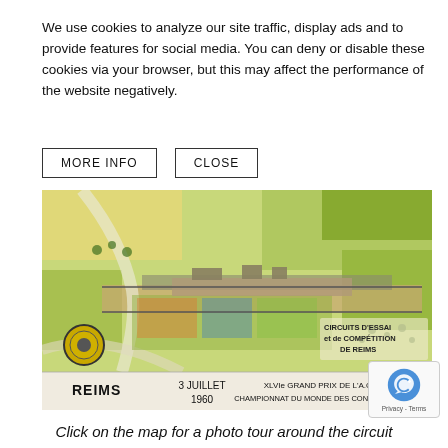We use cookies to analyze our site traffic, display ads and to provide features for social media. You can deny or disable these cookies via your browser, but this may affect the performance of the website negatively.
MORE INFO
CLOSE
[Figure (map): Illustrated aerial map of the Reims racing circuit showing CIRCUITS D'ESSAI et de COMPETITION DE REIMS. Bottom bar shows: REIMS, 3 JUILLET 1960, XLVIe GRAND PRIX DE L'A.C.F. CHAMPIONNAT DU MONDE DES CONDUCTEURS]
Click on the map for a photo tour around the circuit